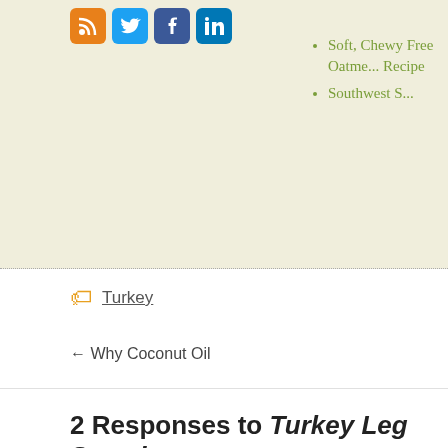[Figure (other): Social media icons: RSS (orange), Twitter (blue), Facebook (blue), LinkedIn (blue)]
Soft, Chewy Free Oatmea... Recipe
Southwest S...
Turkey
← Why Coconut Oil
2 Responses to Turkey Leg Surprise
[Figure (other): Pink avatar with abstract geometric pattern]
MichelleV October 6, 2008 at 3:32 pm #
This recipe sounds heavenly. I can't wait to try it out! I much useful information and great links for organic and eco-frien for sharing. I look forward to reading more.